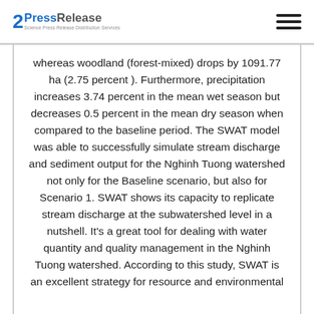2PressRelease — Science Press Release Distribution Services
whereas woodland (forest-mixed) drops by 1091.77 ha (2.75 percent ). Furthermore, precipitation increases 3.74 percent in the mean wet season but decreases 0.5 percent in the mean dry season when compared to the baseline period. The SWAT model was able to successfully simulate stream discharge and sediment output for the Nghinh Tuong watershed not only for the Baseline scenario, but also for Scenario 1. SWAT shows its capacity to replicate stream discharge at the subwatershed level in a nutshell. It's a great tool for dealing with water quantity and quality management in the Nghinh Tuong watershed. According to this study, SWAT is an excellent strategy for resource and environmental